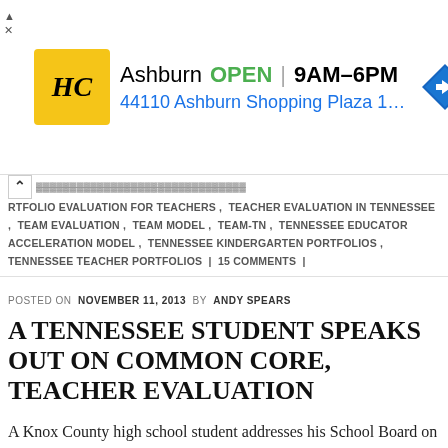[Figure (infographic): Advertisement banner for HC (Home Depot or similar hardware store) showing location in Ashburn, OPEN 9AM-6PM, address 44110 Ashburn Shopping Plaza 190, A... with navigation icon]
RTFOLIO EVALUATION FOR TEACHERS , TEACHER EVALUATION IN TENNESSEE , TEAM EVALUATION , TEAM MODEL , TEAM-TN , TENNESSEE EDUCATOR ACCELERATION MODEL , TENNESSEE KINDERGARTEN PORTFOLIOS , TENNESSEE TEACHER PORTFOLIOS | 15 COMMENTS |
POSTED ON NOVEMBER 11, 2013 BY ANDY SPEARS
A TENNESSEE STUDENT SPEAKS OUT ON COMMON CORE, TEACHER EVALUATION
A Knox County high school student addresses his School Board on Common Core and teacher evaluation. His remarks underscore the reality that education is a people